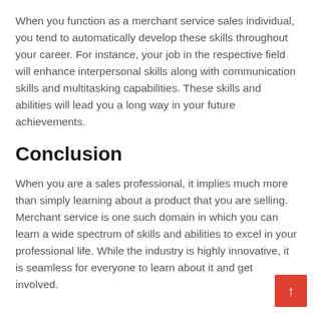When you function as a merchant service sales individual, you tend to automatically develop these skills throughout your career. For instance, your job in the respective field will enhance interpersonal skills along with communication skills and multitasking capabilities. These skills and abilities will lead you a long way in your future achievements.
Conclusion
When you are a sales professional, it implies much more than simply learning about a product that you are selling. Merchant service is one such domain in which you can learn a wide spectrum of skills and abilities to excel in your professional life. While the industry is highly innovative, it is seamless for everyone to learn about it and get involved.